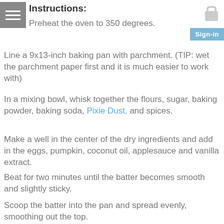Instructions:
Preheat the oven to 350 degrees.
Line a 9x13-inch baking pan with parchment. (TIP: wet the parchment paper first and it is much easier to work with)
In a mixing bowl, whisk together the flours, sugar, baking powder, baking soda, Pixie Dust, and spices.
Make a well in the center of the dry ingredients and add in the eggs, pumpkin, coconut oil, applesauce and vanilla extract.
Beat for two minutes until the batter becomes smooth and slightly sticky.
Scoop the batter into the pan and spread evenly, smoothing out the top.